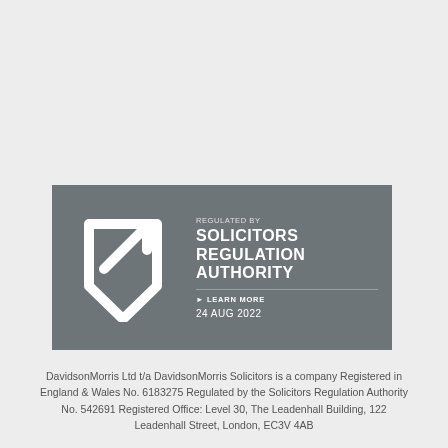[Figure (logo): Solicitors Regulation Authority badge showing the SRA shield/arrow logo on a grey background, with text 'REGULATED BY SOLICITORS REGULATION AUTHORITY ► LEARN MORE 24 AUG 2022']
DavidsonMorris Ltd t/a DavidsonMorris Solicitors is a company Registered in England & Wales No. 6183275 Regulated by the Solicitors Regulation Authority No. 542691 Registered Office: Level 30, The Leadenhall Building, 122 Leadenhall Street, London, EC3V 4AB